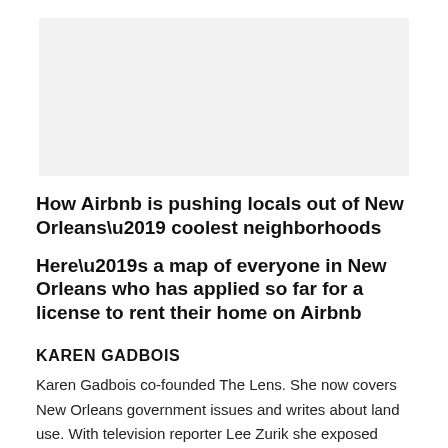[Figure (photo): Light gray rectangular image placeholder at top of page]
How Airbnb is pushing locals out of New Orleans’ coolest neighborhoods
Here’s a map of everyone in New Orleans who has applied so far for a license to rent their home on Airbnb
KAREN GADBOIS
Karen Gadbois co-founded The Lens. She now covers New Orleans government issues and writes about land use. With television reporter Lee Zurik she exposed widespread